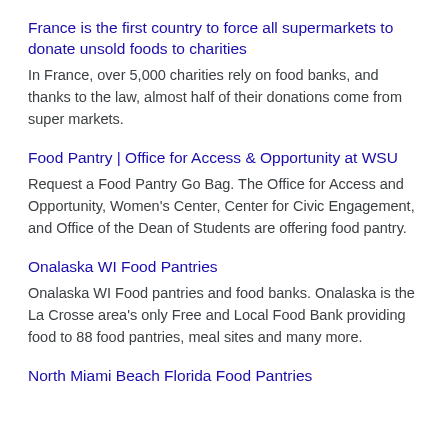France is the first country to force all supermarkets to donate unsold foods to charities
In France, over 5,000 charities rely on food banks, and thanks to the law, almost half of their donations come from super markets.
Food Pantry | Office for Access & Opportunity at WSU
Request a Food Pantry Go Bag. The Office for Access and Opportunity, Women's Center, Center for Civic Engagement, and Office of the Dean of Students are offering food pantry.
Onalaska WI Food Pantries
Onalaska WI Food pantries and food banks. Onalaska is the La Crosse area's only Free and Local Food Bank providing food to 88 food pantries, meal sites and many more.
North Miami Beach Florida Food Pantries